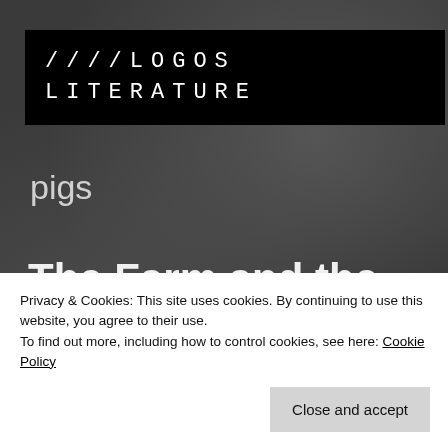////LOGOS LITERATURE
pigs
The Farm and the Forest (Part VIII)
Privacy & Cookies: This site uses cookies. By continuing to use this website, you agree to their use.
To find out more, including how to control cookies, see here: Cookie Policy
Close and accept